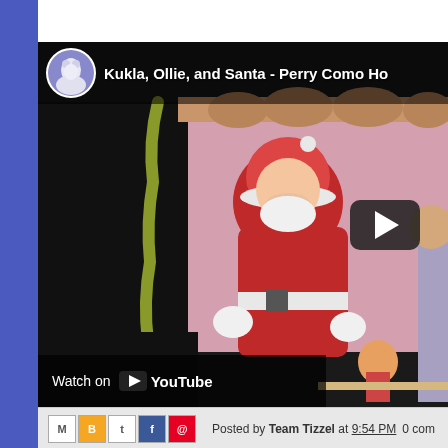[Figure (screenshot): YouTube video embed showing 'Kukla, Ollie, and Santa - Perry Como Ho...' with a Santa Claus costume scene visible, a play button overlay, and a 'Watch on YouTube' bar at the bottom.]
Posted by Team Tizzel at 9:54 PM   0 com...